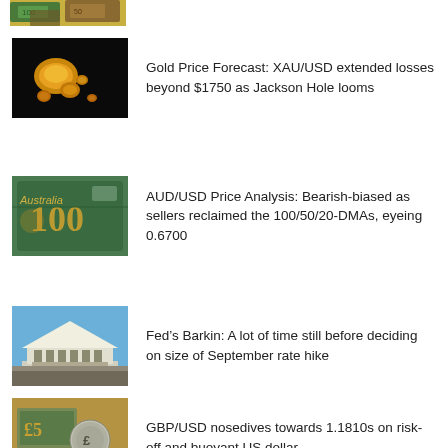[Figure (photo): Partial view of colorful euro/currency banknotes from top]
Gold Price Forecast: XAU/USD extended losses beyond $1750 as Jackson Hole looms
AUD/USD Price Analysis: Bearish-biased as sellers reclaimed the 100/50/20-DMAs, eyeing 0.6700
Fed’s Barkin: A lot of time still before deciding on size of September rate hike
GBP/USD nosedives towards 1.1810s on risk-off and buoyant US dollar